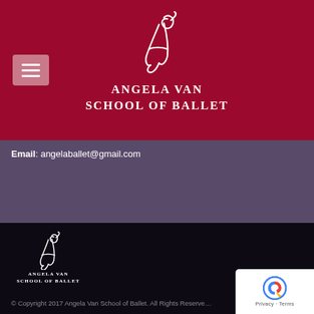[Figure (logo): Angela Van School of Ballet logo with cursive monogram on dark red/crimson background, with hamburger menu button on left]
ANGELA VAN SCHOOL OF BALLET
Email: angelaballet@gmail.com
[Figure (logo): Small Angela Van School of Ballet logo in footer, white on dark background]
© Copyright 2017 Angela Van School of Ballet. All Rights Reserved